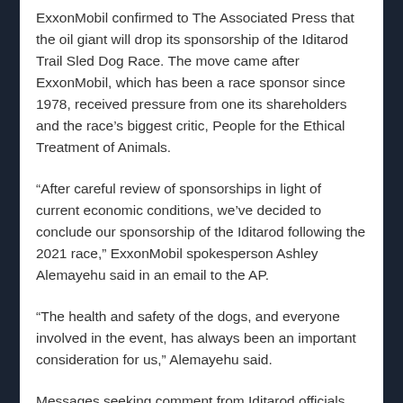ExxonMobil confirmed to The Associated Press that the oil giant will drop its sponsorship of the Iditarod Trail Sled Dog Race. The move came after ExxonMobil, which has been a race sponsor since 1978, received pressure from one its shareholders and the race's biggest critic, People for the Ethical Treatment of Animals.
“After careful review of sponsorships in light of current economic conditions, we’ve decided to conclude our sponsorship of the Iditarod following the 2021 race,” ExxonMobil spokesperson Ashley Alemayehu said in an email to the AP.
“The health and safety of the dogs, and everyone involved in the event, has always been an important consideration for us,” Alemayehu said.
Messages seeking comment from Iditarod officials were not immediately returned.